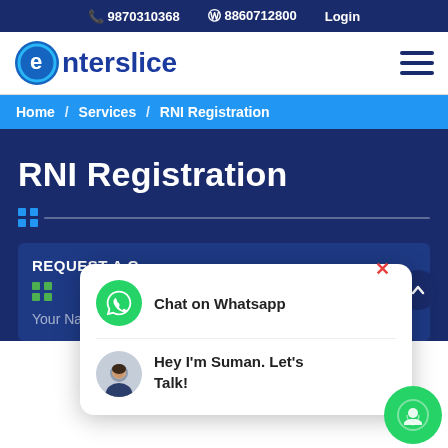📞 9870310368  Ⓦ 8860712800  Login
[Figure (logo): Enterslice logo with circular E icon in blue and bold blue text]
Home / Services / RNI Registration
RNI Registration
REQUEST A C...
Your Name
[Figure (screenshot): WhatsApp chat popup with Chat on Whatsapp option and Hey I'm Suman. Let's Talk! message]